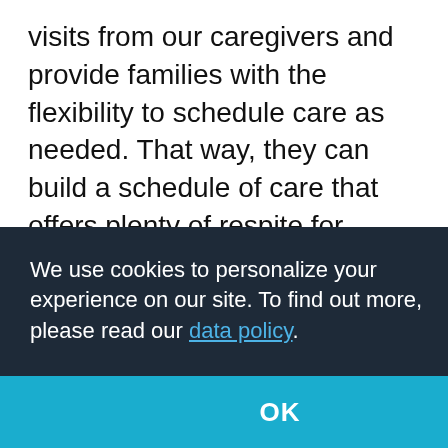visits from our caregivers and provide families with the flexibility to schedule care as needed. That way, they can build a schedule of care that offers plenty of respite for family caregivers but also stays within their projected budget.
During a free, no-obligation consultation, we'll visit with you and your loved one to discuss how our services can meet their needs without overextending your family's financial resources.
We use cookies to personalize your experience on our site. To find out more, please read our data policy.
OK
Respite care